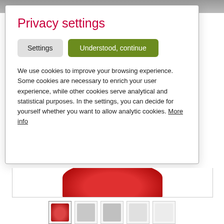[Figure (screenshot): Partial product image visible at top of page behind modal]
Privacy settings
Settings   Understood, continue
We use cookies to improve your browsing experience. Some cookies are necessary to enrich your user experience, while other cookies serve analytical and statistical purposes. In the settings, you can decide for yourself whether you want to allow analytic cookies. More info
[Figure (screenshot): Partial red product bag image below modal]
[Figure (screenshot): Row of 5 product thumbnail images]
[Figure (infographic): 4 gold stars rating with chevron]
1 Testimonials
1 Piece, 150g
7.70 €